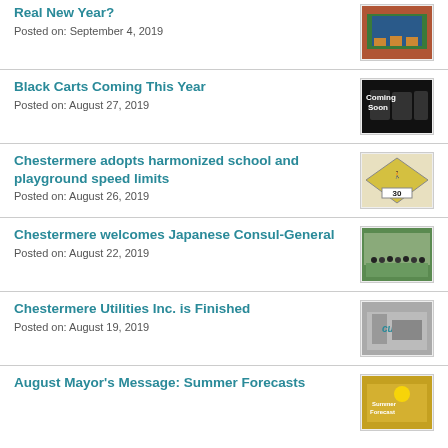Real New Year?
Posted on: September 4, 2019
Black Carts Coming This Year
Posted on: August 27, 2019
Chestermere adopts harmonized school and playground speed limits
Posted on: August 26, 2019
Chestermere welcomes Japanese Consul-General
Posted on: August 22, 2019
Chestermere Utilities Inc. is Finished
Posted on: August 19, 2019
August Mayor's Message: Summer Forecasts